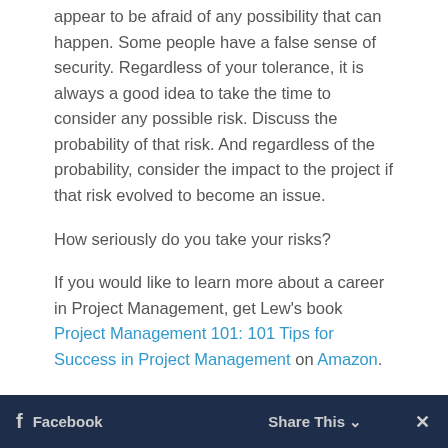appear to be afraid of any possibility that can happen. Some people have a false sense of security. Regardless of your tolerance, it is always a good idea to take the time to consider any possible risk. Discuss the probability of that risk. And regardless of the probability, consider the impact to the project if that risk evolved to become an issue.
How seriously do you take your risks?
If you would like to learn more about a career in Project Management, get Lew's book Project Management 101: 101 Tips for Success in Project Management on Amazon.
Please feel free to provide feedback in the comments section below.
Image courtesy of Sira Anamwong at FreeDigitalPhotos.net
f Facebook   Share This ∨   ×